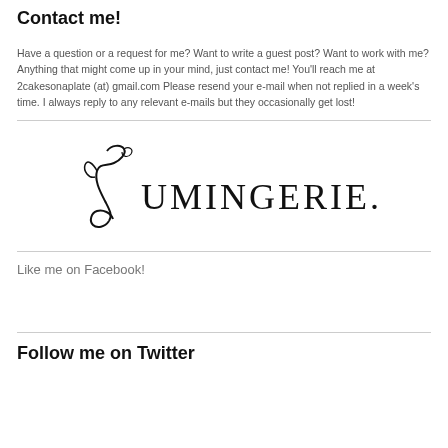Contact me!
Have a question or a request for me? Want to write a guest post? Want to work with me? Anything that might come up in your mind, just contact me! You'll reach me at 2cakesonaplate (at) gmail.com Please resend your e-mail when not replied in a week's time. I always reply to any relevant e-mails but they occasionally get lost!
[Figure (logo): Lumingerie.fi logo with decorative script L followed by UMINGERIE.FI in uppercase serif letters]
Like me on Facebook!
Follow me on Twitter